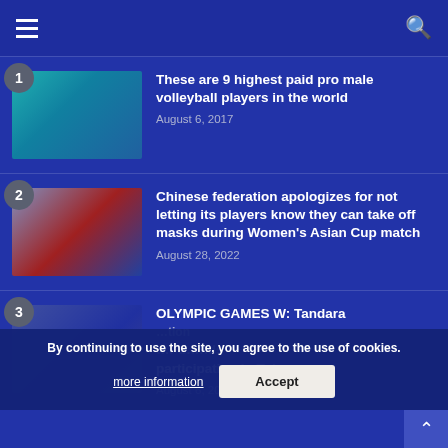Navigation header with hamburger menu and search icon
1. These are 9 highest paid pro male volleyball players in the world — August 6, 2017
2. Chinese federation apologizes for not letting its players know they can take off masks during Women's Asian Cup match — August 28, 2022
3. OLYMPIC GAMES W: Tandara ... participation in Tokyo — August 6, 2021
By continuing to use the site, you agree to the use of cookies.
more information   Accept